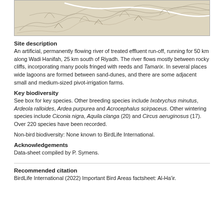[Figure (map): Topographic map showing Wadi Hanifah area with contour lines and a route marked in white]
Site description
An artificial, permanently flowing river of treated effluent run-off, running for 50 km along Wadi Hanifah, 25 km south of Riyadh. The river flows mostly between rocky cliffs, incorporating many pools fringed with reeds and Tamarix. In several places wide lagoons are formed between sand-dunes, and there are some adjacent small and medium-sized pivot-irrigation farms.
Key biodiversity
See box for key species. Other breeding species include Ixobrychus minutus, Ardeola ralloides, Ardea purpurea and Acrocephalus scirpaceus. Other wintering species include Ciconia nigra, Aquila clanga (20) and Circus aeruginosus (17). Over 220 species have been recorded.
Non-bird biodiversity: None known to BirdLife International.
Acknowledgements
Data-sheet compiled by P. Symens.
Recommended citation
BirdLife International (2022) Important Bird Areas factsheet: Al-Ha'ir.